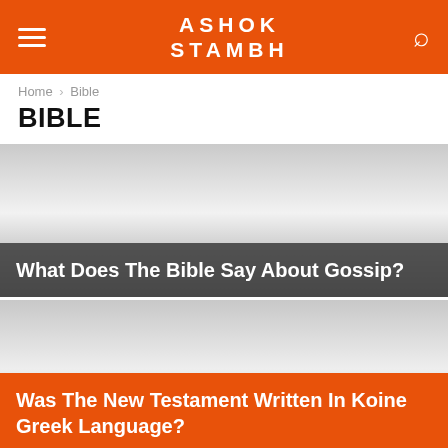ASHOK STAMBH
Home › Bible
BIBLE
[Figure (photo): Gray gradient image card with dark overlay label reading 'What Does The Bible Say About Gossip?']
What Does The Bible Say About Gossip?
[Figure (photo): Orange-gray gradient image card with orange overlay label reading 'Was The New Testament Written In Koine Greek Language?']
Was The New Testament Written In Koine Greek Language?